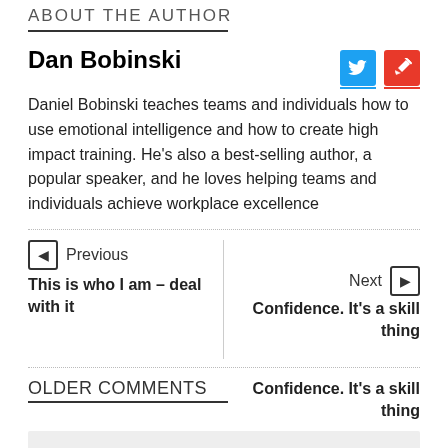ABOUT THE AUTHOR
Dan Bobinski
Daniel Bobinski teaches teams and individuals how to use emotional intelligence and how to create high impact training. He’s also a best-selling author, a popular speaker, and he loves helping teams and individuals achieve workplace excellence
Previous
This is who I am – deal with it
Next
Confidence. It’s a skill thing
OLDER COMMENTS